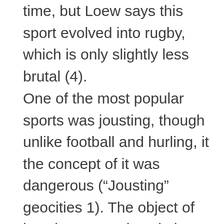time, but Loew says this sport evolved into rugby, which is only slightly less brutal (4).
One of the most popular sports was jousting, though unlike football and hurling, it the concept of it was dangerous (“Jousting” geocities 1). The object of jousting was to knock the opponent off his horse charging at them with a lance (Maxwell 1). The lances were bolted to the armor, which was also very dangerous. The idea of this now sounds absurd, but the sport was quite popular in its day. Jousting